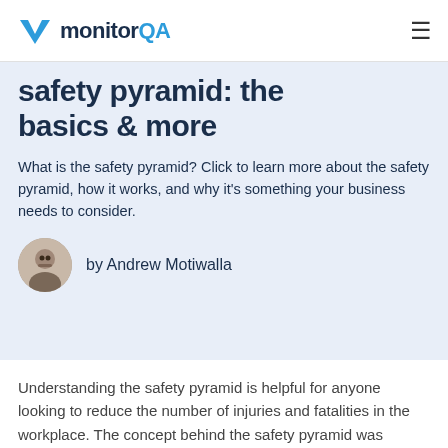monitorQA
safety pyramid: the basics & more
What is the safety pyramid? Click to learn more about the safety pyramid, how it works, and why it's something your business needs to consider.
by Andrew Motiwalla
Understanding the safety pyramid is helpful for anyone looking to reduce the number of injuries and fatalities in the workplace. The concept behind the safety pyramid was created in the 1930s and